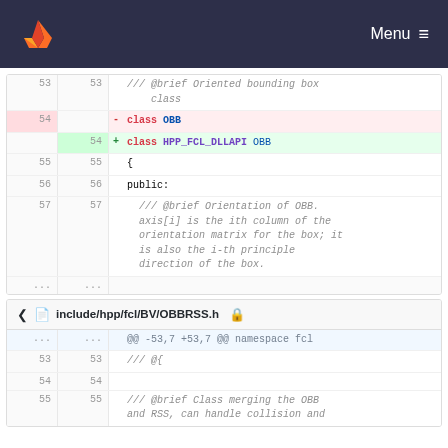GitLab navigation bar with logo and Menu
[Figure (screenshot): Code diff showing OBB class changes in include/hpp/fcl/BV/OBB.h. Lines 53-57 showing: line 53 comment '/// @brief Oriented bounding box class', line 54 deleted 'class OBB', line 54 added 'class HPP_FCL_DLLAPI OBB', lines 55-57 with '{', 'public:', and multi-line comment about Orientation of OBB.]
[Figure (screenshot): Code diff for include/hpp/fcl/BV/OBBRSS.h showing hunk header '@@ -53,7 +53,7 @@ namespace fcl', lines 53-55 with '/// @{', empty line 54, and line 55 '/// @brief Class merging the OBB and RSS, can handle collision and']